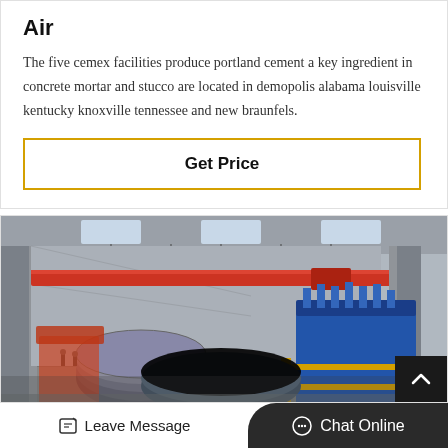Air
The five cemex facilities produce portland cement a key ingredient in concrete mortar and stucco are located in demopolis alabama louisville kentucky knoxville tennessee and new braunfels.
Get Price
[Figure (photo): Interior of a large industrial factory/warehouse with overhead red crane, blue industrial machinery (possibly a mill or grinder) on yellow scaffolding, and large rolls of material on the factory floor. High ceiling with skylights.]
Leave Message | Chat Online